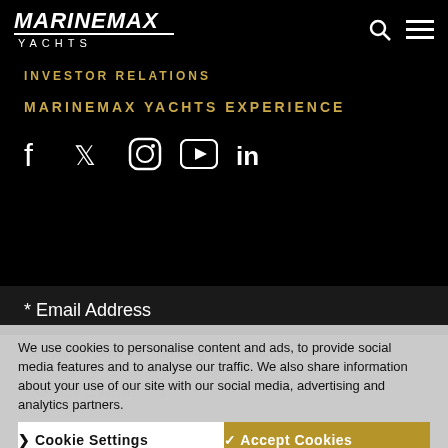[Figure (logo): MarineMax Yachts logo — white italic bold text with underline and YACHTS text below]
INVESTOR RELATIONS
MARINEMAX YACHTS EXPERIENCE
[Figure (infographic): Social media icons: Facebook, Twitter, Instagram, YouTube, LinkedIn]
* Email Address
We use cookies to personalise content and ads, to provide social media features and to analyse our traffic. We also share information about your use of our site with our social media, advertising and analytics partners.
Cookie Settings
✓ Accept Cookies